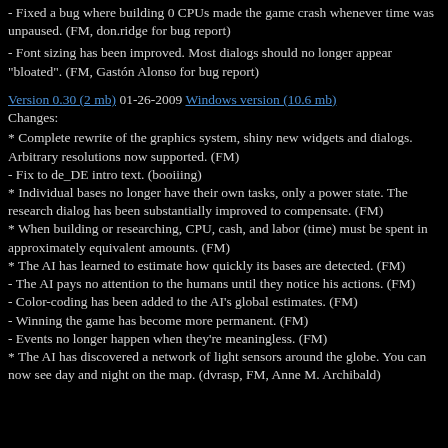- Fixed a bug where building 0 CPUs made the game crash whenever time was unpaused. (FM, don.ridge for bug report)
- Font sizing has been improved. Most dialogs should no longer appear "bloated". (FM, Gastón Alonso for bug report)
Version 0.30 (2 mb) 01-26-2009 Windows version (10.6 mb)
Changes:
* Complete rewrite of the graphics system, shiny new widgets and dialogs. Arbitrary resolutions now supported. (FM)
- Fix to de_DE intro text. (booiiing)
* Individual bases no longer have their own tasks, only a power state. The research dialog has been substantially improved to compensate. (FM)
* When building or researching, CPU, cash, and labor (time) must be spent in approximately equivalent amounts. (FM)
* The AI has learned to estimate how quickly its bases are detected. (FM)
- The AI pays no attention to the humans until they notice his actions. (FM)
- Color-coding has been added to the AI's global estimates. (FM)
- Winning the game has become more permanent. (FM)
- Events no longer happen when they're meaningless. (FM)
* The AI has discovered a network of light sensors around the globe. You can now see day and night on the map. (dvrasp, FM, Anne M. Archibald)